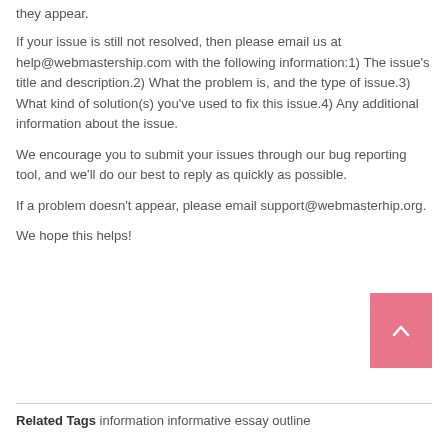they appear.
If your issue is still not resolved, then please email us at help@webmastership.com with the following information:1) The issue's title and description.2) What the problem is, and the type of issue.3) What kind of solution(s) you've used to fix this issue.4) Any additional information about the issue.
We encourage you to submit your issues through our bug reporting tool, and we'll do our best to reply as quickly as possible.
If a problem doesn't appear, please email support@webmasterhip.org.
We hope this helps!
[Figure (other): Pink/salmon colored scroll-to-top button with upward chevron arrow]
Related Tags information informative essay outline